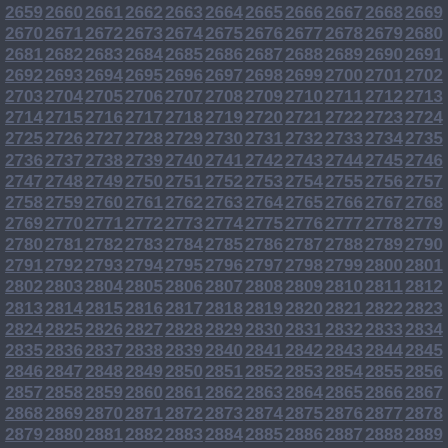2659 2660 2661 2662 2663 2664 2665 2666 2667 2668 2669 2670 2671 2672 2673 2674 2675 2676 2677 2678 2679 2680 2681 2682 2683 2684 2685 2686 2687 2688 2689 2690 2691 2692 2693 2694 2695 2696 2697 2698 2699 2700 2701 2702 2703 2704 2705 2706 2707 2708 2709 2710 2711 2712 2713 2714 2715 2716 2717 2718 2719 2720 2721 2722 2723 2724 2725 2726 2727 2728 2729 2730 2731 2732 2733 2734 2735 2736 2737 2738 2739 2740 2741 2742 2743 2744 2745 2746 2747 2748 2749 2750 2751 2752 2753 2754 2755 2756 2757 2758 2759 2760 2761 2762 2763 2764 2765 2766 2767 2768 2769 2770 2771 2772 2773 2774 2775 2776 2777 2778 2779 2780 2781 2782 2783 2784 2785 2786 2787 2788 2789 2790 2791 2792 2793 2794 2795 2796 2797 2798 2799 2800 2801 2802 2803 2804 2805 2806 2807 2808 2809 2810 2811 2812 2813 2814 2815 2816 2817 2818 2819 2820 2821 2822 2823 2824 2825 2826 2827 2828 2829 2830 2831 2832 2833 2834 2835 2836 2837 2838 2839 2840 2841 2842 2843 2844 2845 2846 2847 2848 2849 2850 2851 2852 2853 2854 2855 2856 2857 2858 2859 2860 2861 2862 2863 2864 2865 2866 2867 2868 2869 2870 2871 2872 2873 2874 2875 2876 2877 2878 2879 2880 2881 2882 2883 2884 2885 2886 2887 2888 2889